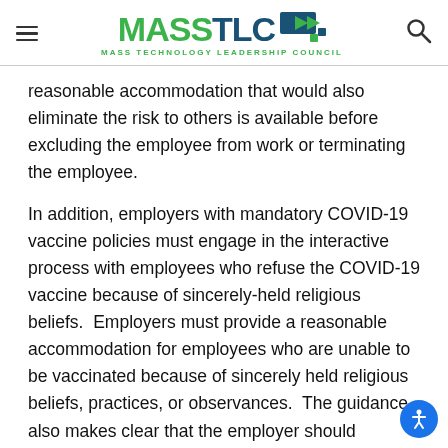MASSTLC — MASS TECHNOLOGY LEADERSHIP COUNCIL
reasonable accommodation that would also eliminate the risk to others is available before excluding the employee from work or terminating the employee.
In addition, employers with mandatory COVID-19 vaccine policies must engage in the interactive process with employees who refuse the COVID-19 vaccine because of sincerely-held religious beliefs.  Employers must provide a reasonable accommodation for employees who are unable to be vaccinated because of sincerely held religious beliefs, practices, or observances.  The guidance also makes clear that the employer should assume that a request for religious accommodation is legitimate before requesting additional supporting information.  Employers are not required to provide religious accommodations for